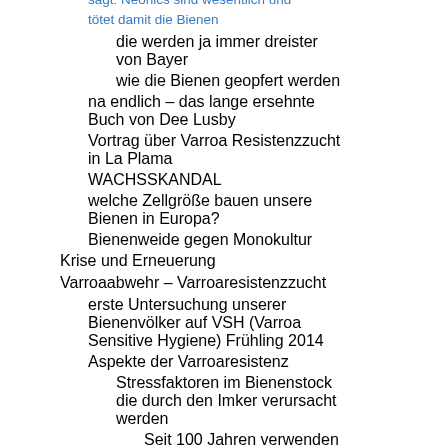englachem anamals – Bayer sagt: Neonics sind wesentlich und tötet damit die Bienen
die werden ja immer dreister von Bayer
wie die Bienen geopfert werden
na endlich – das lange ersehnte Buch von Dee Lusby
Vortrag über Varroa Resistenzzucht in La Plama
WACHSSKANDAL
welche Zellgröße bauen unsere Bienen in Europa?
Bienenweide gegen Monokultur
Krise und Erneuerung
Varroaabwehr – Varroaresistenzzucht
erste Untersuchung unserer Bienenvölker auf VSH (Varroa Sensitive Hygiene) Frühling 2014
Aspekte der Varroaresistenz
Stressfaktoren im Bienenstock die durch den Imker verursacht werden
Seit 100 Jahren verwenden die Imker zu große Zellengrößen